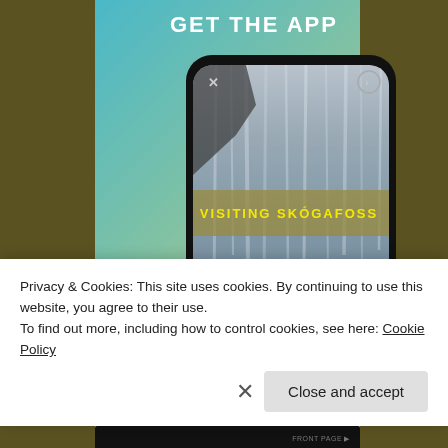GET THE APP
[Figure (screenshot): Smartphone mockup showing app screen with a waterfall photo (visiting Skógafoss article) on a blue-green-yellow gradient background]
Privacy & Cookies: This site uses cookies. By continuing to use this website, you agree to their use.
To find out more, including how to control cookies, see here: Cookie Policy
Close and accept